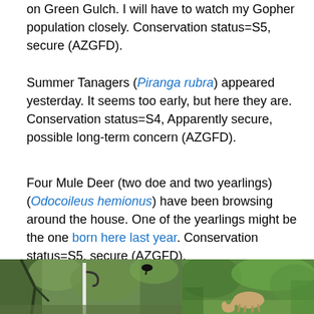on Green Gulch. I will have to watch my Gopher population closely. Conservation status=S5, secure (AZGFD).
Summer Tanagers (Piranga rubra) appeared yesterday. It seems too early, but here they are. Conservation status=S4, Apparently secure, possible long-term concern (AZGFD).
Four Mule Deer (two doe and two yearlings) (Odocoileus hemionus) have been browsing around the house. One of the yearlings might be the one born here last year. Conservation status=S5, secure (AZGFD).
[Figure (photo): Left photo: outdoor scene with green vegetation, bird feeder pole visible, dark bird silhouette on branch]
[Figure (photo): Right photo: deer grazing among green plants and bushes]